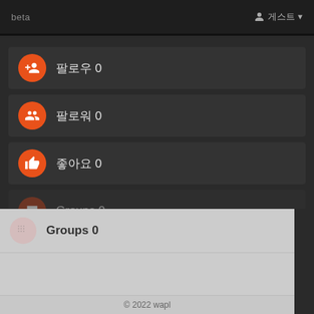beta  게스트
팔로우 0
팔로워 0
좋아요 0
Groups 0
© 2022 wapl
Home  About wapl  Contact Us  이용약관  광고  Request refund
Got It!